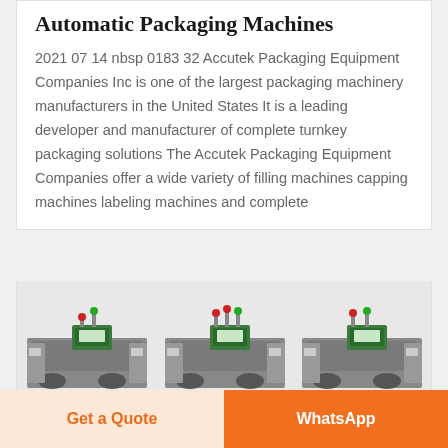Automatic Packaging Machines
2021 07 14 nbsp 0183 32 Accutek Packaging Equipment Companies Inc is one of the largest packaging machinery manufacturers in the United States It is a leading developer and manufacturer of complete turnkey packaging solutions The Accutek Packaging Equipment Companies offer a wide variety of filling machines capping machines labeling machines and complete
[Figure (photo): Industrial automatic packaging machines with green and red indicator lights and control panels, shown in a row]
Get a Quote
WhatsApp